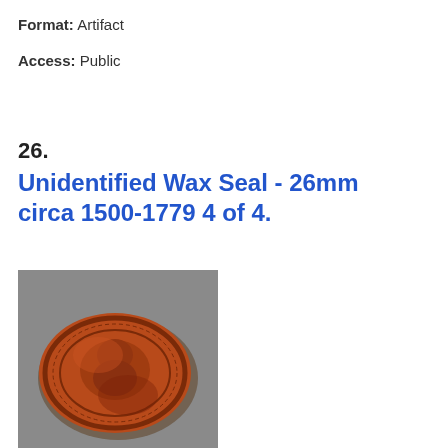Format: Artifact
Access: Public
26.
Unidentified Wax Seal - 26mm circa 1500-1779 4 of 4.
[Figure (photo): Photograph of a circular red/brown wax seal approximately 26mm in diameter, showing an embossed heraldic or decorative design with text around the border, circa 1500-1779.]